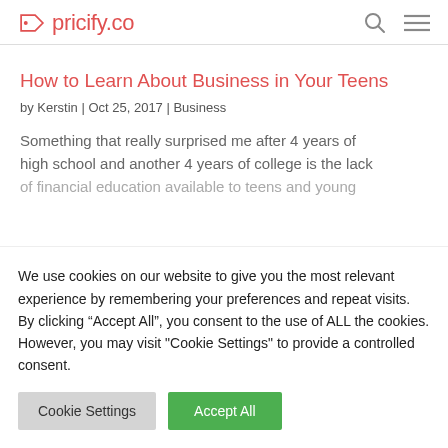pricify.co
How to Learn About Business in Your Teens
by Kerstin | Oct 25, 2017 | Business
Something that really surprised me after 4 years of high school and another 4 years of college is the lack of financial education available to teens and young
We use cookies on our website to give you the most relevant experience by remembering your preferences and repeat visits. By clicking “Accept All”, you consent to the use of ALL the cookies. However, you may visit "Cookie Settings" to provide a controlled consent.